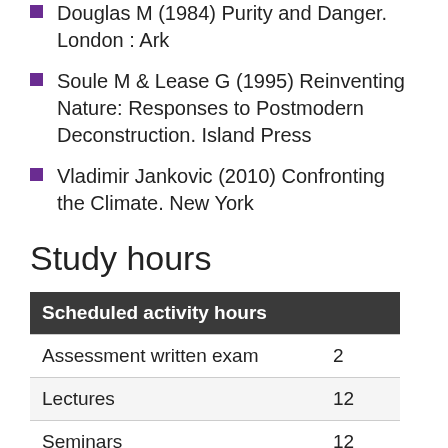Douglas M (1984) Purity and Danger. London : Ark
Soule M & Lease G (1995) Reinventing Nature: Responses to Postmodern Deconstruction. Island Press
Vladimir Jankovic (2010) Confronting the Climate. New York
Study hours
| Scheduled activity hours |  |
| --- | --- |
| Assessment written exam | 2 |
| Lectures | 12 |
| Seminars | 12 |